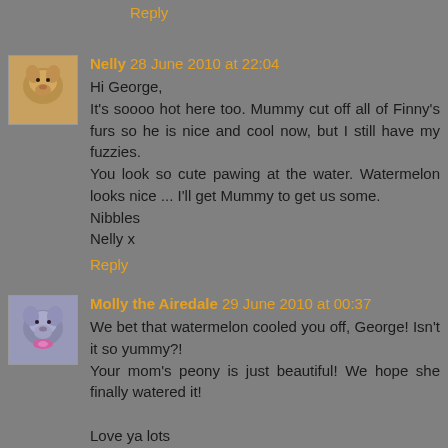Reply
Nelly 28 June 2010 at 22:04
Hi George,
It's soooo hot here too. Mummy cut off all of Finny's furs so he is nice and cool now, but I still have my fuzzies.
You look so cute pawing at the water. Watermelon looks nice ... I'll get Mummy to get us some.
Nibbles
Nelly x
Reply
Molly the Airedale 29 June 2010 at 00:37
We bet that watermelon cooled you off, George! Isn't it so yummy?!
Your mom's peony is just beautiful! We hope she finally watered it!

Love ya lots